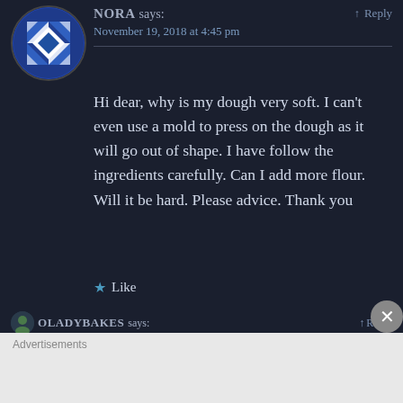[Figure (illustration): Blue and white geometric/snowflake pattern avatar icon in a circle]
NORA says: ↑ Reply
November 19, 2018 at 4:45 pm
Hi dear, why is my dough very soft. I can't even use a mold to press on the dough as it will go out of shape. I have follow the ingredients carefully. Can I add more flour. Will it be hard. Please advice. Thank you
★ Like
OLADYBAKES says: ↑ Reply
Advertisements